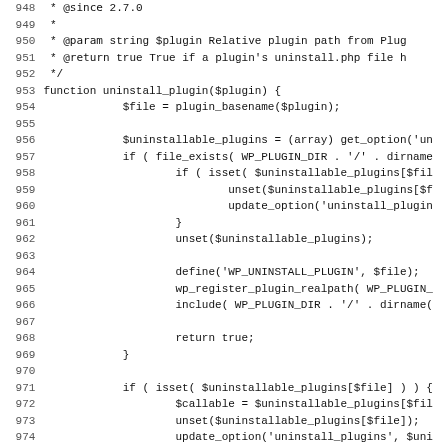[Figure (screenshot): Source code screenshot showing PHP function uninstall_plugin with line numbers 948-979, displaying code for plugin uninstallation including file existence checks, array operations, and include statements.]